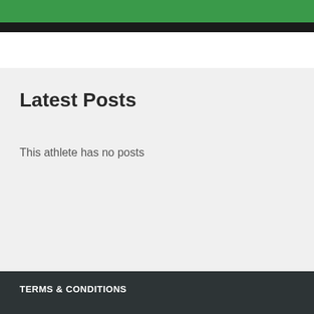[Figure (illustration): Green and black banner image at the top of the page]
Latest Posts
This athlete has no posts
TERMS & CONDITIONS